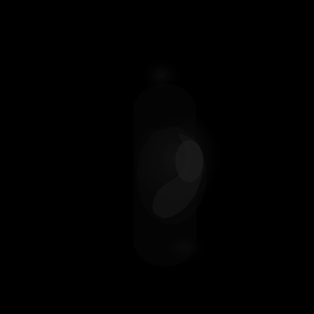[Figure (photo): A very dark, nearly black photograph. In the center-right area there is a faint, barely visible silhouette or figure — possibly a person or object — dimly lit against the black background. The image is extremely underexposed with very low contrast, showing only subtle darker and slightly lighter shades of black.]